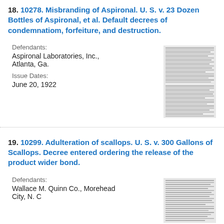18. 10278. Misbranding of Aspironal. U. S. v. 23 Dozen Bottles of Aspironal, et al. Default decrees of condemnatiom, forfeiture, and destruction.
Defendants:
Aspironal Laboratories, Inc., Atlanta, Ga.
Issue Dates:
June 20, 1922
[Figure (other): Thumbnail image of a scanned document page, showing dense small text]
19. 10299. Adulteration of scallops. U. S. v. 300 Gallons of Scallops. Decree entered ordering the release of the product wider bond.
Defendants:
Wallace M. Quinn Co., Morehead City, N. C
[Figure (other): Thumbnail image of a scanned document page, showing dense small text]